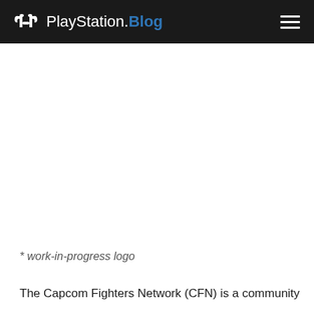PlayStation.Blog
[Figure (photo): Large image area (blank/white) showing a work-in-progress logo for Capcom Fighters Network]
* work-in-progress logo
The Capcom Fighters Network (CFN) is a community